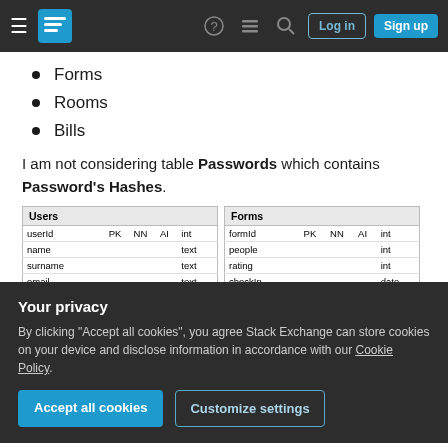Stack Exchange navigation bar with hamburger menu, logo, help, chat, search icons, Log in and Sign up buttons
Forms
Rooms
Bills
I am not considering table Passwords which contains Password's Hashes.
[Figure (other): Database schema diagram showing Users table and Forms table with columns: Users(userId PK NN AI int, name text, surname text, email text, dateOfBirth date...) and Forms(formId PK NN AI int, people int, rating int, checkIn date, checkOut date...) with bottom strip showing roomNum PK and other fields]
Your privacy
By clicking "Accept all cookies", you agree Stack Exchange can store cookies on your device and disclose information in accordance with our Cookie Policy.
Accept all cookies
Customize settings